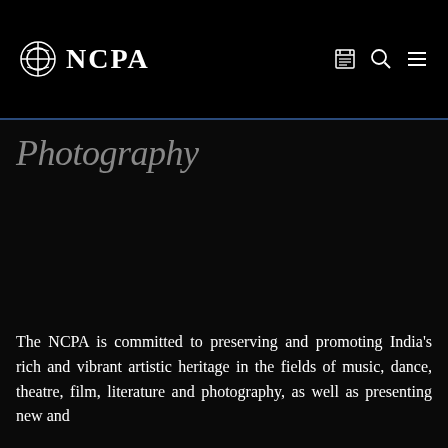NCPA
Photography
The NCPA is committed to preserving and promoting India's rich and vibrant artistic heritage in the fields of music, dance, theatre, film, literature and photography, as well as presenting new and